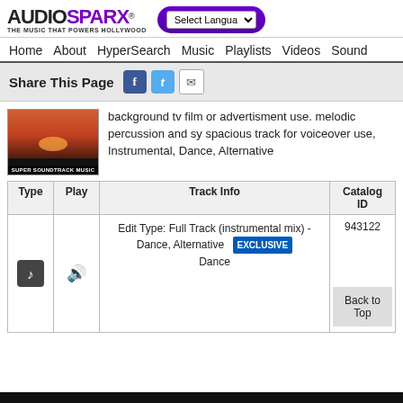AUDIOSPARX THE MUSIC THAT POWERS HOLLYWOOD
Share This Page
background tv film or advertisment use. melodic percussion and sy spacious track for voiceover use, Instrumental, Dance, Alternative
| Type | Play | Track Info | Catalog ID |
| --- | --- | --- | --- |
| [music icon] | [speaker icon] | Edit Type: Full Track (instrumental mix) - Dance, Alternative Dance [EXCLUSIVE] | 943122 |
Back to Top